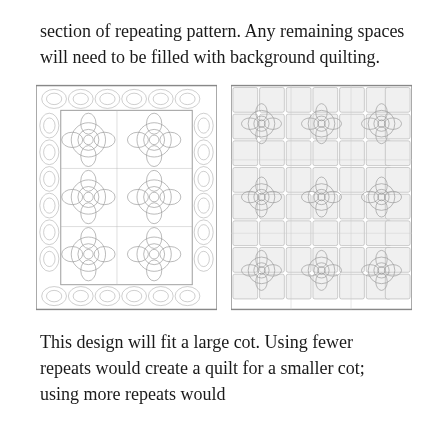section of repeating pattern. Any remaining spaces will need to be filled with background quilting.
[Figure (illustration): Two side-by-side illustrations of quilting patterns. Left: a rectangular quilt with repeating circular floral/medallion motifs arranged in a grid, with decorative border elements. Right: a similar rectangular quilt with a denser repeating floral pattern filling the entire surface including background.]
This design will fit a large cot. Using fewer repeats would create a quilt for a smaller cot; using more repeats would